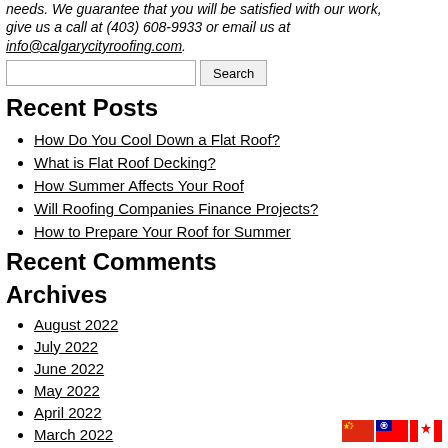needs. We guarantee that you will be satisfied with our work, give us a call at (403) 608-9933 or email us at info@calgarycityroofing.com.
Recent Posts
How Do You Cool Down a Flat Roof?
What is Flat Roof Decking?
How Summer Affects Your Roof
Will Roofing Companies Finance Projects?
How to Prepare Your Roof for Summer
Recent Comments
Archives
August 2022
July 2022
June 2022
May 2022
April 2022
March 2022
February 2022
[Figure (illustration): Three country flag icons: China, Taiwan, Canada]